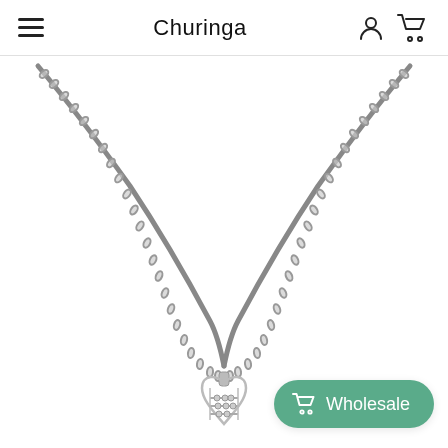Churinga
[Figure (photo): Silver chain necklace with a heart-shaped abacus pendant, displayed on a white background. The chain drapes in a V-shape with the pendant visible at the bottom center.]
Wholesale